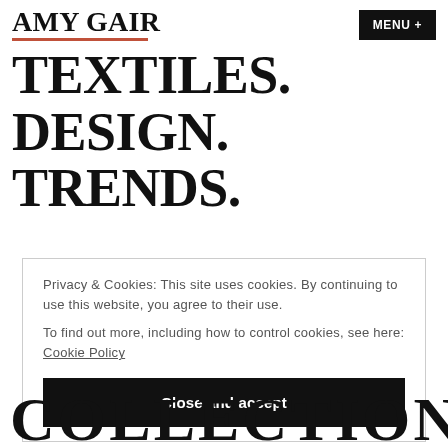AMY GAIR TEXTILES. DESIGN. TRENDS.
MENU +
Privacy & Cookies: This site uses cookies. By continuing to use this website, you agree to their use.
To find out more, including how to control cookies, see here: Cookie Policy
Close and accept
COLLECTION